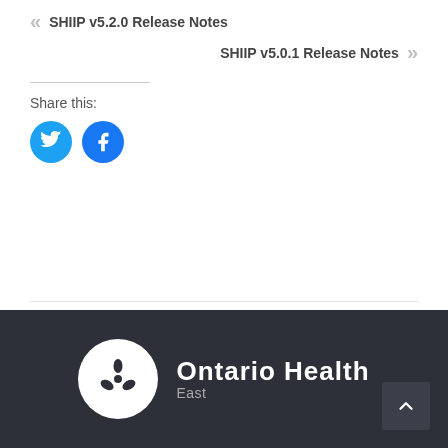« SHIIP v5.2.0 Release Notes
SHIIP v5.0.1 Release Notes »
Share this:
[Figure (illustration): Twitter and Facebook share buttons as blue circles with white icons]
[Figure (logo): Ontario Health East logo with trillium symbol in white circle on dark background footer]